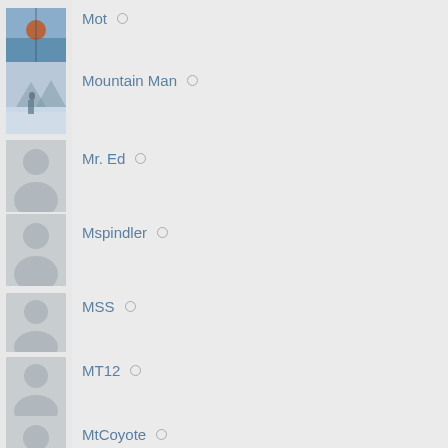Mot
Mountain Man
Mr. Ed
Mspindler
MSS
MT12
MtCoyote
MTcubbldr